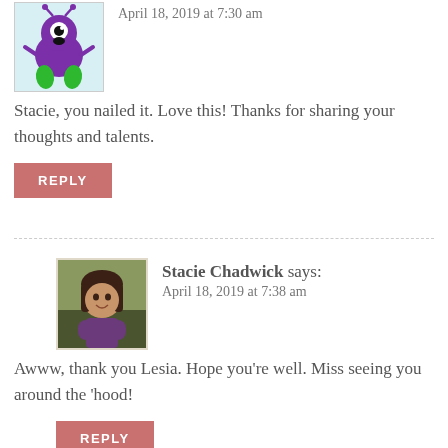[Figure (illustration): Avatar image of a purple cartoon alien/monster with green legs on a light blue background]
April 18, 2019 at 7:30 am
Stacie, you nailed it. Love this! Thanks for sharing your thoughts and talents.
REPLY
Stacie Chadwick says:
April 18, 2019 at 7:38 am
[Figure (photo): Photo of a woman with dark hair smiling, outdoors background]
Awww, thank you Lesia. Hope you're well. Miss seeing you around the 'hood!
REPLY